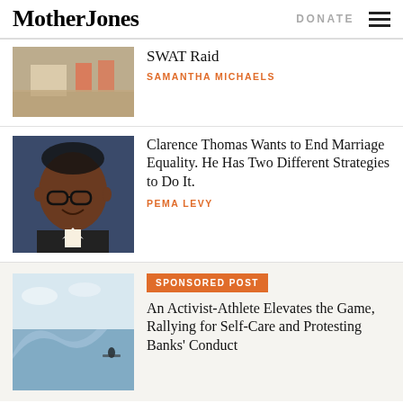Mother Jones | DONATE
SWAT Raid
SAMANTHA MICHAELS
Clarence Thomas Wants to End Marriage Equality. He Has Two Different Strategies to Do It.
PEMA LEVY
SPONSORED POST
An Activist-Athlete Elevates the Game, Rallying for Self-Care and Protesting Banks' Conduct